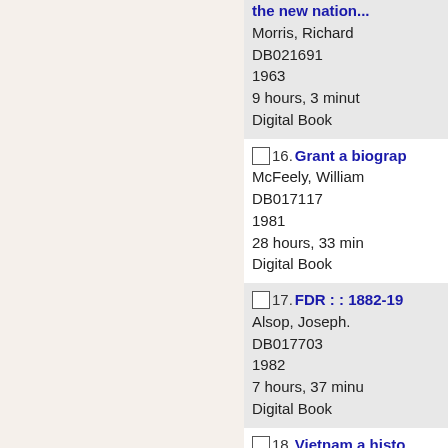Morris, Richard
DB021691
1963
9 hours, 3 minutes
Digital Book
16. Grant a biography
McFeely, William
DB017117
1981
28 hours, 33 minutes
Digital Book
17. FDR : : 1882-19...
Alsop, Joseph.
DB017703
1982
7 hours, 37 minutes
Digital Book
18. Vietnam a history
Karnow, Stanley